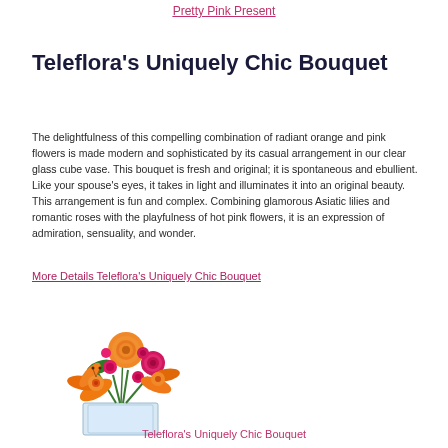Pretty Pink Present
Teleflora's Uniquely Chic Bouquet
The delightfulness of this compelling combination of radiant orange and pink flowers is made modern and sophisticated by its casual arrangement in our clear glass cube vase. This bouquet is fresh and original; it is spontaneous and ebullient. Like your spouse's eyes, it takes in light and illuminates it into an original beauty. This arrangement is fun and complex. Combining glamorous Asiatic lilies and romantic roses with the playfulness of hot pink flowers, it is an expression of admiration, sensuality, and wonder.
More Details Teleflora's Uniquely Chic Bouquet
[Figure (photo): Flower bouquet of orange Asiatic lilies and hot pink roses arranged in a clear glass cube vase]
Teleflora's Uniquely Chic Bouquet